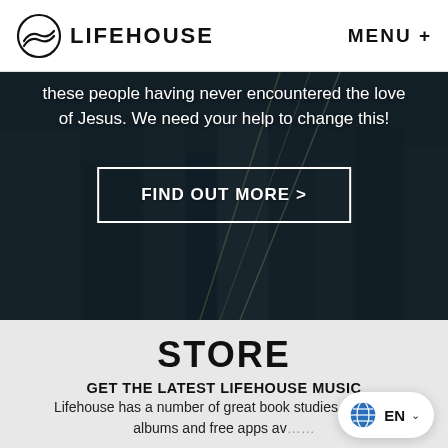LIFEHOUSE   MENU +
[Figure (screenshot): Dark aerial city photo background with white overlay text and a 'FIND OUT MORE >' call-to-action button with white border]
these people having never encountered the love of Jesus. We need your help to change this!
STORE
GET THE LATEST LIFEHOUSE MUSIC AND RESOURCES AT LIFEHOUSE STORE
Lifehouse has a number of great book studies, worship albums and free apps av...